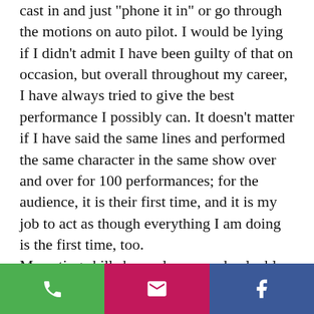cast in and just "phone it in" or go through the motions on auto pilot. I would be lying if I didn't admit I have been guilty of that on occasion, but overall throughout my career, I have always tried to give the best performance I possibly can. It doesn't matter if I have said the same lines and performed the same character in the same show over and over for 100 performances; for the audience, it is their first time, and it is my job to act as though everything I am doing is the first time, too.

My acting skills have also proved valuable in the many jobs I have had
[Figure (other): Footer bar with three buttons: green phone icon, pink/magenta email icon, and blue Facebook icon]